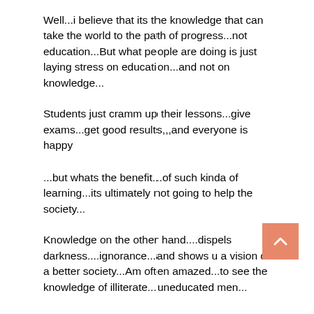Well...i believe that its the knowledge that can take the world to the path of progress...not education...But what people are doing is just laying stress on education...and not on knowledge...
Students just cramm up their lessons...give exams...get good results,,,and everyone is happy
...but whats the benefit...of such kinda of learning...its ultimately not going to help the society...
Knowledge on the other hand....dispels darkness....ignorance...and shows u a vision of a better society...Am often amazed...to see the knowledge of illiterate...uneducated men...
Knowledge of their work is all thats carrying them forward....
Ya education is important...but knowledge is indispensable...